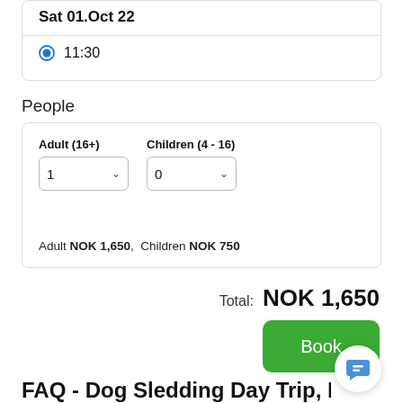Sat 01.Oct 22
11:30
People
Adult (16+)
Children (4 - 16)
Adult NOK 1,650,   Children NOK 750
Total: NOK 1,650
Book
FAQ - Dog Sledding Day Trip, Bodø,